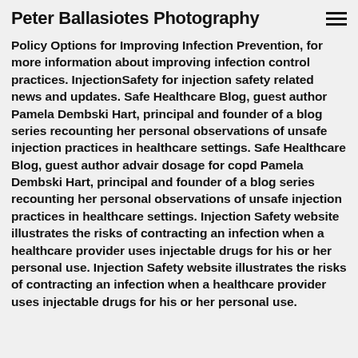Peter Ballasiotes Photography
Policy Options for Improving Infection Prevention, for more information about improving infection control practices. InjectionSafety for injection safety related news and updates. Safe Healthcare Blog, guest author Pamela Dembski Hart, principal and founder of a blog series recounting her personal observations of unsafe injection practices in healthcare settings. Safe Healthcare Blog, guest author advair dosage for copd Pamela Dembski Hart, principal and founder of a blog series recounting her personal observations of unsafe injection practices in healthcare settings. Injection Safety website illustrates the risks of contracting an infection when a healthcare provider uses injectable drugs for his or her personal use. Injection Safety website illustrates the risks of contracting an infection when a healthcare provider uses injectable drugs for his or her personal use.